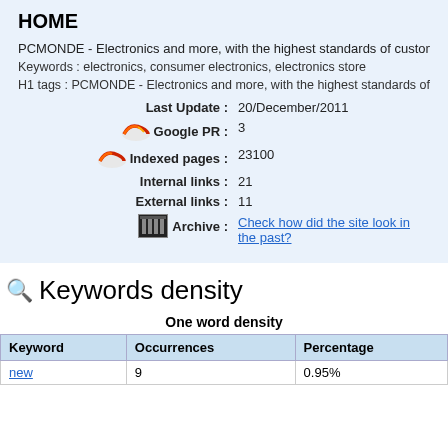HOME
PCMONDE - Electronics and more, with the highest standards of customer service. We
Keywords : electronics, consumer electronics, electronics store
H1 tags : PCMONDE - Electronics and more, with the highest standards of customer service. W
| Last Update : | 20/December/2011 |
| Google PR : | 3 |
| Indexed pages : | 23100 |
| Internal links : | 21 |
| External links : | 11 |
| Archive : | Check how did the site look in the past? |
Keywords density
One word density
| Keyword | Occurrences | Percentage |
| --- | --- | --- |
| new | 9 | 0.95% |